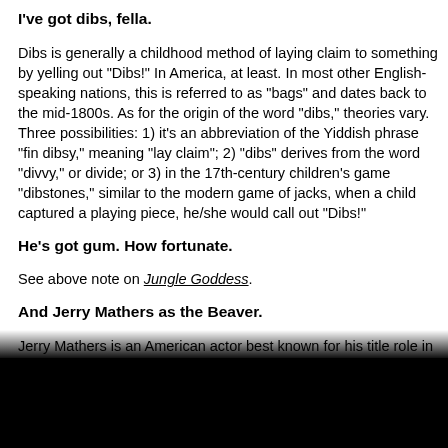I've got dibs, fella.
Dibs is generally a childhood method of laying claim to something by yelling out "Dibs!" In America, at least. In most other English-speaking nations, this is referred to as "bags" and dates back to the mid-1800s. As for the origin of the word "dibs," theories vary. Three possibilities: 1) it's an abbreviation of the Yiddish phrase "fin dibsy," meaning "lay claim"; 2) "dibs" derives from the word "divvy," or divide; or 3) in the 17th-century children's game "dibstones," similar to the modern game of jacks, when a child captured a playing piece, he/she would call out "Dibs!"
He's got gum. How fortunate.
See above note on Jungle Goddess.
And Jerry Mathers as the Beaver.
Jerry Mathers is an American actor best known for his title role in the TV series Leave It to Beaver (1957-1963) and the sequel series The New Leave It to Beaver (1984-1989). The opening of...